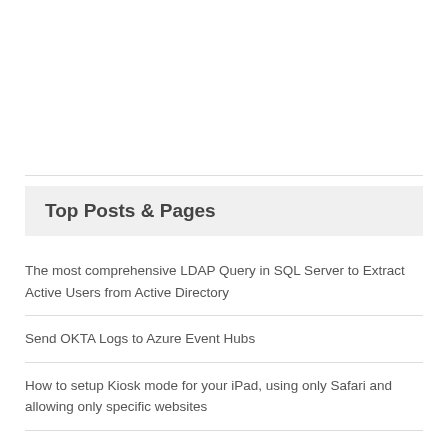Top Posts & Pages
The most comprehensive LDAP Query in SQL Server to Extract Active Users from Active Directory
Send OKTA Logs to Azure Event Hubs
How to setup Kiosk mode for your iPad, using only Safari and allowing only specific websites
Migrate AAD Connect Database to New SQL Database
Enabling ASP.Net MVC client validation for Kendo UI components